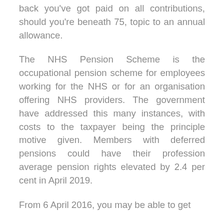back you've got paid on all contributions, should you're beneath 75, topic to an annual allowance.
The NHS Pension Scheme is the occupational pension scheme for employees working for the NHS or for an organisation offering NHS providers. The government have addressed this many instances, with costs to the taxpayer being the principle motive given. Members with deferred pensions could have their profession average pension rights elevated by 2.4 per cent in April 2019.
From 6 April 2016, you may be able to get